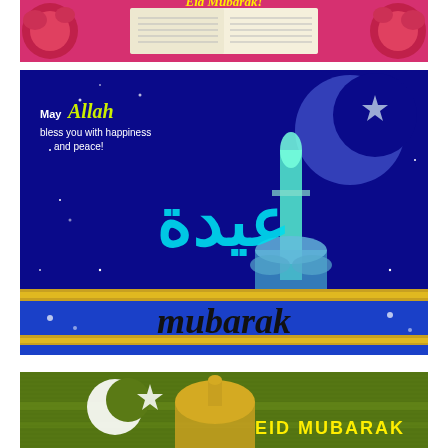[Figure (illustration): Eid Mubarak greeting banner with open Quran pages, roses with pink background, Arabic/decorative text reading Eid Mubarak]
[Figure (illustration): Eid greeting card with blue night background, mosque minaret, crescent moon and star, large Arabic calligraphy, text reading 'May Allah bless you with happiness and peace!' and 'mubarak' in decorative English letters with gold ornamental border]
[Figure (illustration): Eid Mubarak greeting card with olive green textured background, crescent moon, star, golden mosque dome, and text 'EID MUBARAK' at bottom right]